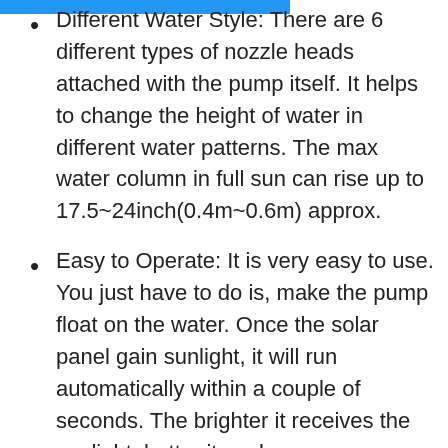Different Water Style: There are 6 different types of nozzle heads attached with the pump itself. It helps to change the height of water in different water patterns. The max water column in full sun can rise up to 17.5~24inch(0.4m~0.6m) approx.
Easy to Operate: It is very easy to use. You just have to do is, make the pump float on the water. Once the solar panel gain sunlight, it will run automatically within a couple of seconds. The brighter it receives the sunlight, better it works.